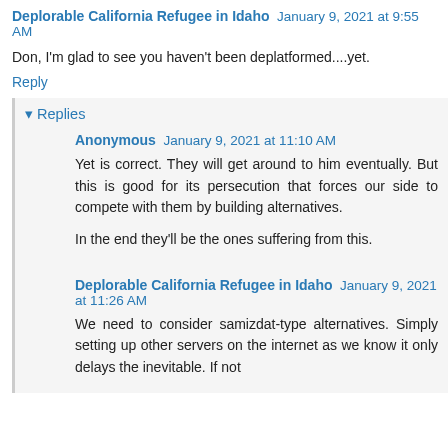Deplorable California Refugee in Idaho January 9, 2021 at 9:55 AM
Don, I'm glad to see you haven't been deplatformed....yet.
Reply
Replies
Anonymous January 9, 2021 at 11:10 AM
Yet is correct. They will get around to him eventually. But this is good for its persecution that forces our side to compete with them by building alternatives.

In the end they'll be the ones suffering from this.
Deplorable California Refugee in Idaho January 9, 2021 at 11:26 AM
We need to consider samizdat-type alternatives. Simply setting up other servers on the internet as we know it only delays the inevitable. If not